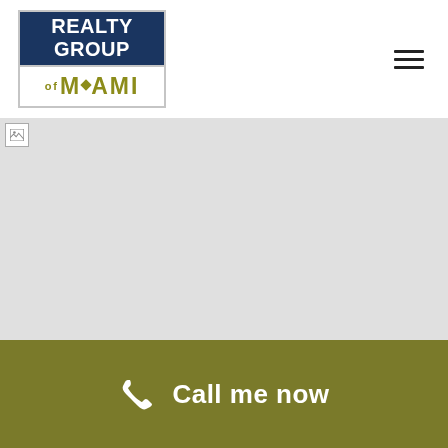[Figure (logo): Realty Group of Miami logo with dark blue top section showing REALTY GROUP text and white bottom section showing MIAMI text in olive/gold color]
[Figure (other): Hamburger menu icon (three horizontal lines)]
[Figure (photo): Broken/unloaded hero image placeholder (gray background with small broken image icon at top left)]
Call me now